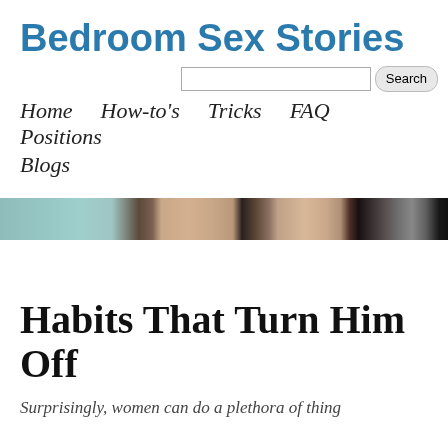Bedroom Sex Stories
Home  How-to's  Tricks  FAQ  Positions  Blogs
[Figure (photo): Cropped close-up photo of a face, showing forehead and eyes, with dark background on right side and teal/grey tones on left.]
Habits That Turn Him Off
Surprisingly, women can do a plethora of thing